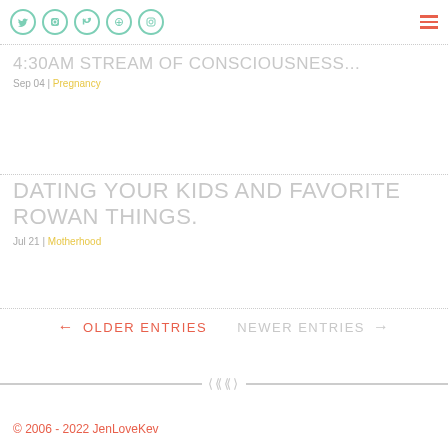Social icons and navigation menu
4:30AM STREAM OF CONSCIOUSNESS...
Sep 04 | Pregnancy
DATING YOUR KIDS AND FAVORITE ROWAN THINGS.
Jul 21 | Motherhood
← OLDER ENTRIES
NEWER ENTRIES →
© 2006 - 2022 JenLoveKev